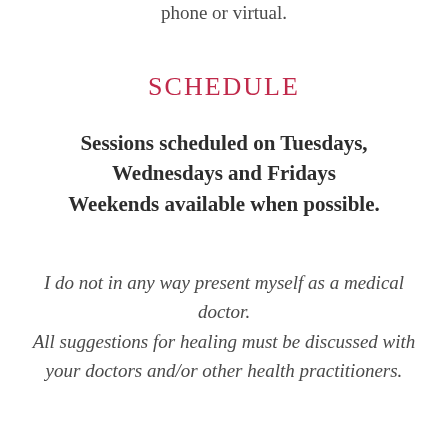phone or virtual.
SCHEDULE
Sessions scheduled on Tuesdays, Wednesdays and Fridays
Weekends available when possible.
I do not in any way present myself as a medical doctor.
All suggestions for healing must be discussed with your doctors and/or other health practitioners.